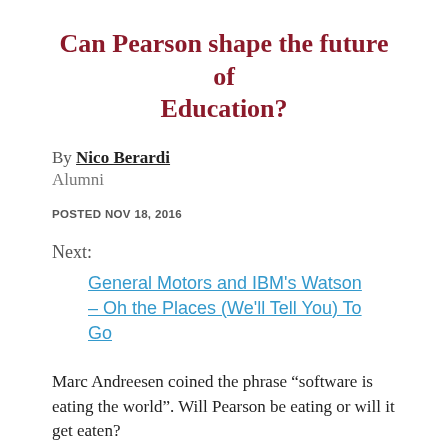Can Pearson shape the future of Education?
By Nico Berardi
Alumni
POSTED NOV 18, 2016
Next:
General Motors and IBM's Watson – Oh the Places (We'll Tell You) To Go
Marc Andreesen coined the phrase “software is eating the world”. Will Pearson be eating or will it get eaten?